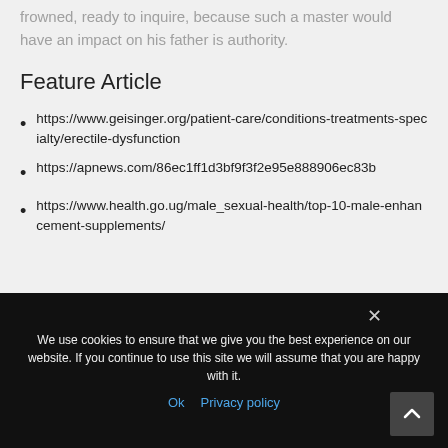frowned, ready to inquire, because such a master would have an impact on his father is authority.
Feature Article
https://www.geisinger.org/patient-care/conditions-treatments-specialty/erectile-dysfunction
https://apnews.com/86ec1ff1d3bf9f3f2e95e888906ec83b
https://www.health.go.ug/male_sexual-health/top-10-male-enhancement-supplements/
We use cookies to ensure that we give you the best experience on our website. If you continue to use this site we will assume that you are happy with it. Ok Privacy policy